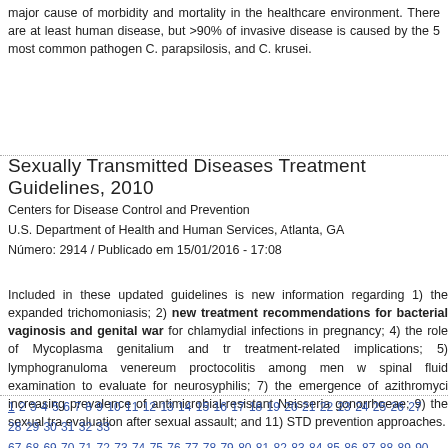major cause of morbidity and mortality in the healthcare environment. There are at least human disease, but >90% of invasive disease is caused by the 5 most common pathogens C. parapsilosis, and C. krusei.
Sexually Transmitted Diseases Treatment Guidelines, 2010
Centers for Disease Control and Prevention
U.S. Department of Health and Human Services, Atlanta, GA
Número: 2914 / Publicado em 15/01/2016 - 17:08
Included in these updated guidelines is new information regarding 1) the expanded trichomoniasis; 2) new treatment recommendations for bacterial vaginosis and genital warts for chlamydial infections in pregnancy; 4) the role of Mycoplasma genitalium and treatment-related implications; 5) lymphogranuloma venereum proctocolitis among men spinal fluid examination to evaluate for neurosyphilis; 7) the emergence of azithromycin increasing prevalence of antimicrobial-resistant Neisseria gonorrhoeae; 9) the sexual transmission evaluation after sexual assault; and 11) STD prevention approaches.
1 2 3 4 5 6 7 8 9 10 11 12 13 14 15 16 17 18 19 20 21 22 23 24 25 26 27 28 29 30 31 32 33 67 68 69 70 71 72 73 74 75 76 77 78 79 80 81 82 83 84 85 86 87 88 89 90 91 92 93 94 95 96 133 134 135 136 137 138 139 140 141